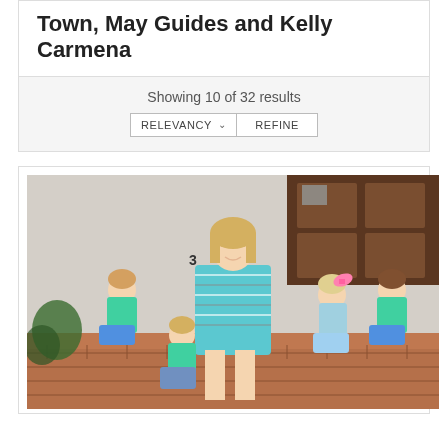Town, May Guides and Kelly Carmena
Showing 10 of 32 results
[Figure (other): UI controls: RELEVANCY dropdown and REFINE button]
[Figure (photo): A woman with blonde hair wearing a striped teal/blue dress sits on brick steps in front of a dark wooden door, surrounded by four children wearing teal/mint polo shirts and shorts. One girl has a pink bow in her hair.]